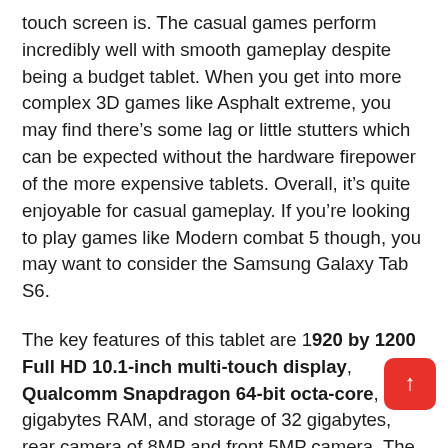touch screen is. The casual games perform incredibly well with smooth gameplay despite being a budget tablet. When you get into more complex 3D games like Asphalt extreme, you may find there's some lag or little stutters which can be expected without the hardware firepower of the more expensive tablets. Overall, it's quite enjoyable for casual gameplay. If you're looking to play games like Modern combat 5 though, you may want to consider the Samsung Galaxy Tab S6.
The key features of this tablet are 1920 by 1200 Full HD 10.1-inch multi-touch display, Qualcomm Snapdragon 64-bit octa-core, 2 gigabytes RAM, and storage of 32 gigabytes, rear camera of 8MP and front 5MP camera. The pros are an exceptional price for a 10 inch full tablet, powerful front-facing speakers with Dolby Atmos audio, Bluetooth 4.2 and Wi-Fi, micro SD slot. For the